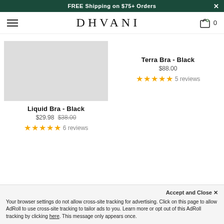FREE Shipping on $75+ Orders
[Figure (logo): DHVANI brand logo with hamburger menu and cart icon]
Liquid Bra - Black
$29.98 $38.00
★★★★★ 6 reviews
Terra Bra - Black
$88.00
★★★★★ 5 reviews
Accept and Close ✕
Your browser settings do not allow cross-site tracking for advertising. Click on this page to allow AdRoll to use cross-site tracking to tailor ads to you. Learn more or opt out of this AdRoll tracking by clicking here. This message only appears once.